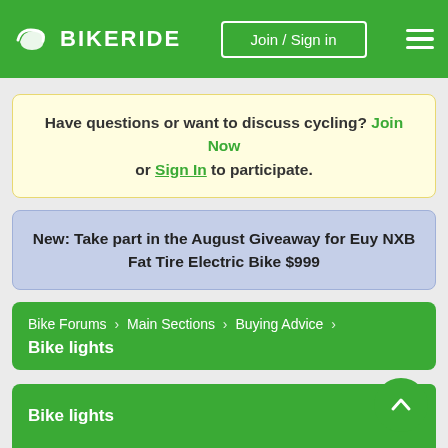BIKERIDE — Join / Sign in
Have questions or want to discuss cycling? Join Now or Sign In to participate.
New: Take part in the August Giveaway for Euy NXB Fat Tire Electric Bike $999
Bike Forums › Main Sections › Buying Advice › Bike lights
New Reply
Bike lights